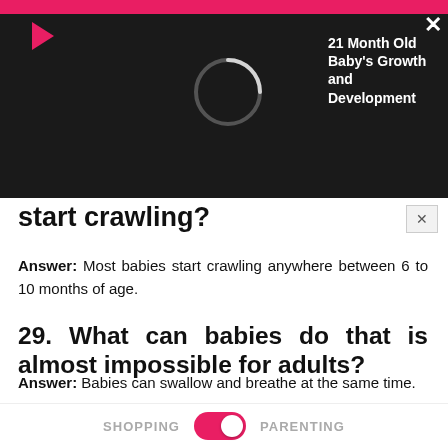[Figure (screenshot): Video overlay on black background showing a play button arrow in red/pink, a loading spinner circle, video title '21 Month Old Baby's Growth and Development', and a close X button in the top right]
start crawling?
Answer: Most babies start crawling anywhere between 6 to 10 months of age.
29. What can babies do that is almost impossible for adults?
Answer: Babies can swallow and breathe at the same time.
30. What is the average amount of steps
SHOPPING  PARENTING